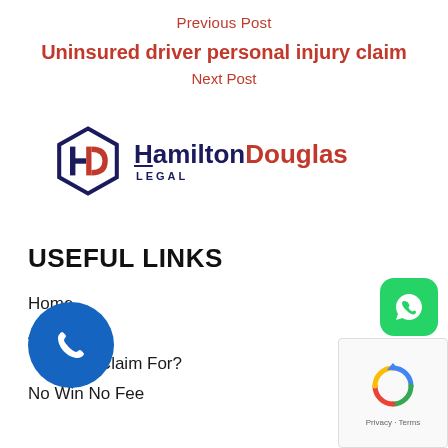Previous Post
Uninsured driver personal injury claim
Next Post
[Figure (logo): Hamilton Douglas Legal logo — hexagonal HD emblem with Hamilton in dark blue and Douglas in red, LEGAL in small caps below]
USEFUL LINKS
Home
About Us
What Can I Claim For?
No Win No Fee